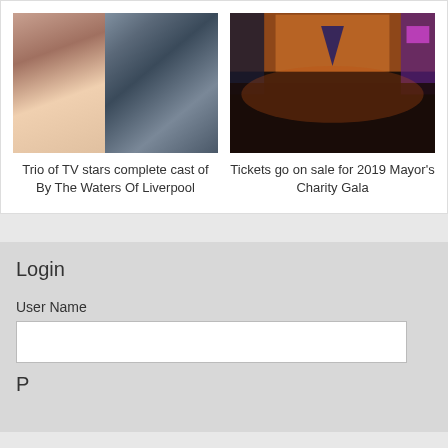[Figure (photo): Two photos side by side: partial view of a woman with curly hair on left, and a young man in a denim jacket on right]
Trio of TV stars complete cast of By The Waters Of Liverpool
[Figure (photo): Indoor venue/gala event with orange stage lighting, audience seated, purple lights on right side]
Tickets go on sale for 2019 Mayor's Charity Gala
Login
User Name
Password